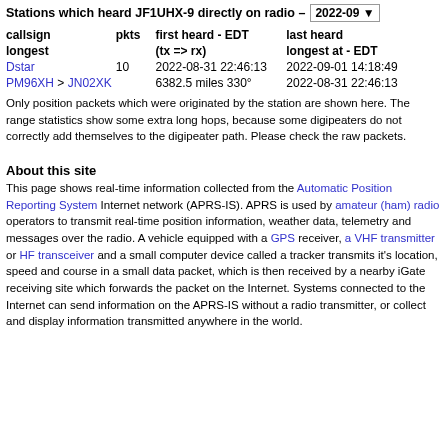Stations which heard JF1UHX-9 directly on radio – 2022-09
| callsign | pkts | first heard - EDT (tx => rx) | last heard longest at - EDT |
| --- | --- | --- | --- |
| Dstar | 10 | 2022-08-31 22:46:13 | 2022-09-01 14:18:49 |
| PM96XH > JN02XK |  | 6382.5 miles 330° | 2022-08-31 22:46:13 |
Only position packets which were originated by the station are shown here. The range statistics show some extra long hops, because some digipeaters do not correctly add themselves to the digipeater path. Please check the raw packets.
About this site
This page shows real-time information collected from the Automatic Position Reporting System Internet network (APRS-IS). APRS is used by amateur (ham) radio operators to transmit real-time position information, weather data, telemetry and messages over the radio. A vehicle equipped with a GPS receiver, a VHF transmitter or HF transceiver and a small computer device called a tracker transmits it's location, speed and course in a small data packet, which is then received by a nearby iGate receiving site which forwards the packet on the Internet. Systems connected to the Internet can send information on the APRS-IS without a radio transmitter, or collect and display information transmitted anywhere in the world.